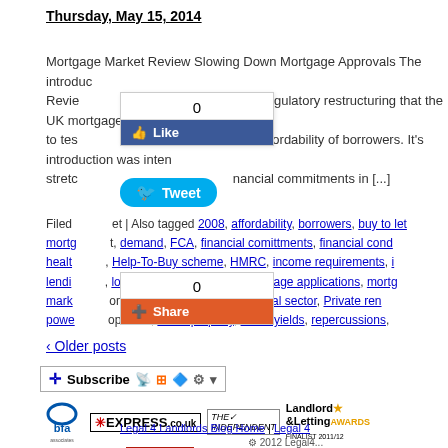Thursday, May 15, 2014
Mortgage Market Review Slowing Down Mortgage Approvals The introduc... Review ...gest regulatory restructuring that the UK mortgage mark... to tes...ued affordability of borrowers. It's introduction was inten... stretc...nancial commitments in [...]
Filed ...t | Also tagged 2008, affordability, borrowers, buy to let, mortg...t, demand, FCA, financial comittments, financial cond..., healt..., Help-To-Buy scheme, HMRC, income requirements, i..., lendi..., loan applications, MMR, mortgage applications, mortg..., mark...ortgages, portfolio, private rental sector, Private ren..., powe...operties, rental property, rental yields, repercussions,
‹ Older posts
[Figure (infographic): Subscribe bar with RSS and social icons, followed by media logos: bfa associates, Daily Express, The Independent, Landlord & Letting Awards Finalist 2011/12, Yahoo! News, Manchester Evening News]
Legal 4 Landlords Blog Home | Legal 4
2012 Legal4...
Go to the Mai...